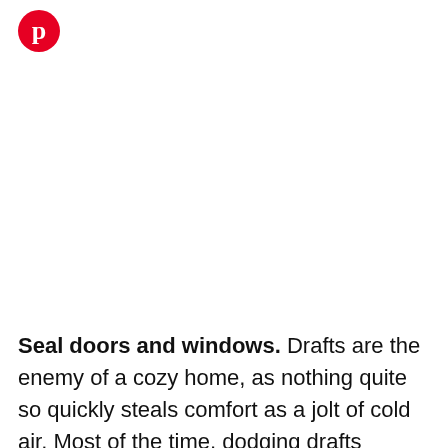[Figure (logo): Pinterest logo — red circle with white 'p' letter mark]
Seal doors and windows. Drafts are the enemy of a cozy home, as nothing quite so quickly steals comfort as a jolt of cold air. Most of the time, dodging drafts means plugging up any cracks and crevices around openings to the outdoors. Caulk and